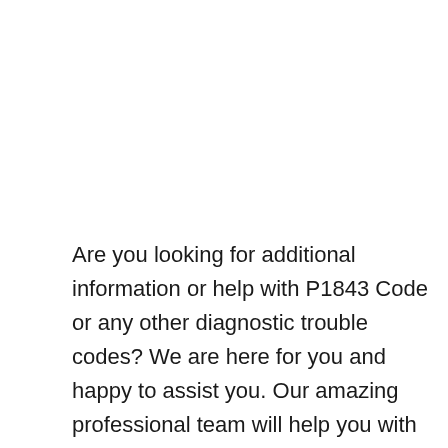Are you looking for additional information or help with P1843 Code or any other diagnostic trouble codes? We are here for you and happy to assist you. Our amazing professional team will help you with any diagnostic trouble codes related matter. Please use the contact us form page or the comments form below.